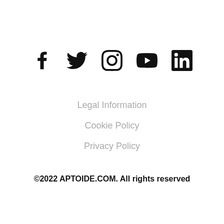[Figure (other): Row of five social media icons: Facebook, Twitter, Instagram, YouTube, LinkedIn]
Legal Information
Cookie Policy
Privacy Policy
©2022 APTOIDE.COM. All rights reserved